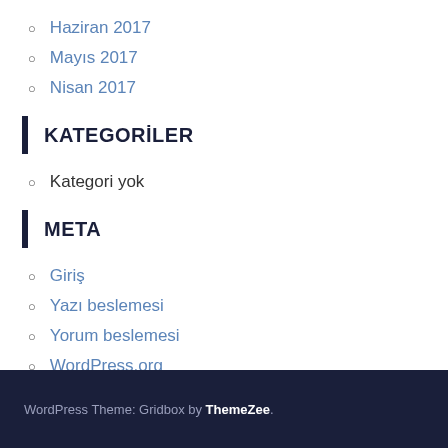Haziran 2017
Mayıs 2017
Nisan 2017
KATEGORİLER
Kategori yok
META
Giriş
Yazı beslemesi
Yorum beslemesi
WordPress.org
WordPress Theme: Gridbox by ThemeZee.